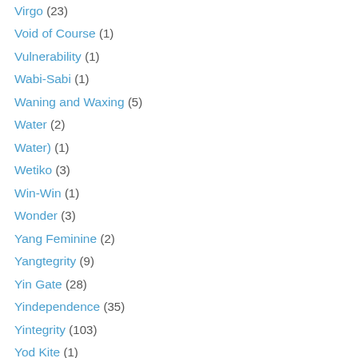Virgo (23)
Void of Course (1)
Vulnerability (1)
Wabi-Sabi (1)
Waning and Waxing (5)
Water (2)
Water) (1)
Wetiko (3)
Win-Win (1)
Wonder (3)
Yang Feminine (2)
Yangtegrity (9)
Yin Gate (28)
Yindependence (35)
Yintegrity (103)
Yod Kite (1)
Yod or Finger of God (8)
Zero Point Field (1)
Zeus (1)
Zhulong (5)